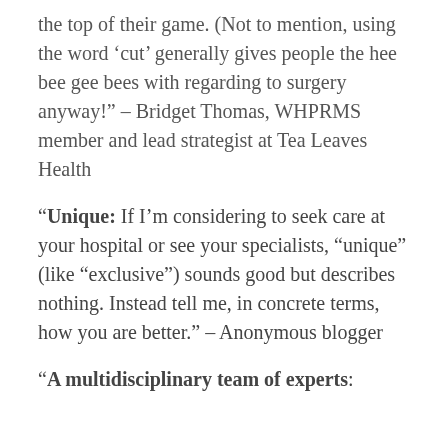the top of their game. (Not to mention, using the word ‘cut’ generally gives people the hee bee gee bees with regarding to surgery anyway!” – Bridget Thomas, WHPRMS member and lead strategist at Tea Leaves Health
“Unique: If I’m considering to seek care at your hospital or see your specialists, “unique” (like “exclusive”) sounds good but describes nothing. Instead tell me, in concrete terms, how you are better.” – Anonymous blogger
“A multidisciplinary team of experts: